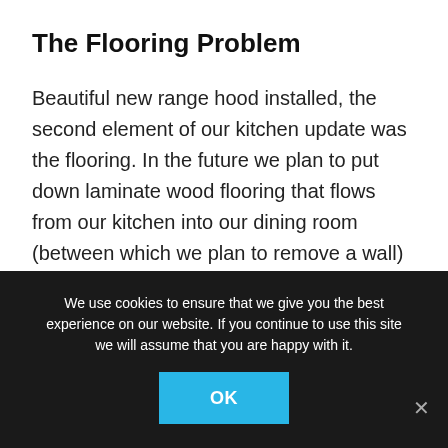The Flooring Problem
Beautiful new range hood installed, the second element of our kitchen update was the flooring. In the future we plan to put down laminate wood flooring that flows from our kitchen into our dining room (between which we plan to remove a wall) and into the living room and hallway. Because we are several years out on that, we decided to go with peel and stick tile. The tile we chose was 89 cents a
We use cookies to ensure that we give you the best experience on our website. If you continue to use this site we will assume that you are happy with it.